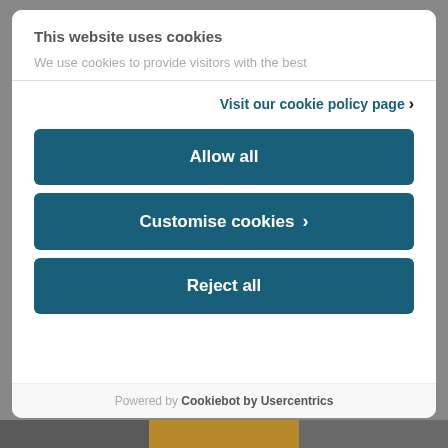This website uses cookies
We use cookies to provide visitors with the best
Visit our cookie policy page ›
Allow all
Customise cookies ›
Reject all
Powered by Cookiebot by Usercentrics